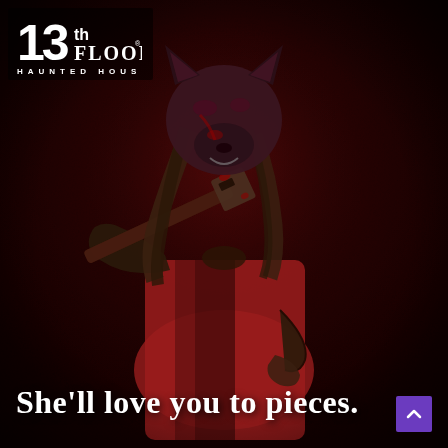[Figure (photo): Dark horror promotional image for 13th Floor Haunted House. A figure in a red robe wearing a grotesque wolf/animal mask holds a bloody metal wrench/pipe over one shoulder. Long brown hair, dark background with deep red tones. Very dramatic horror atmosphere.]
She'll love you to pieces.